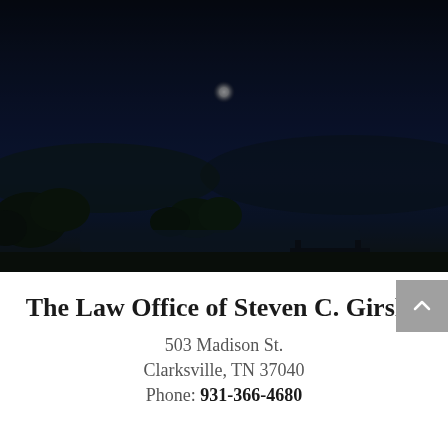[Figure (photo): Night landscape photo of Clarksville, TN showing a moonlit skyline with trees and fields under a dark blue sky with a visible moon]
The Law Office of Steven C. Girsky
503 Madison St.
Clarksville, TN 37040
Phone: 931-366-4680